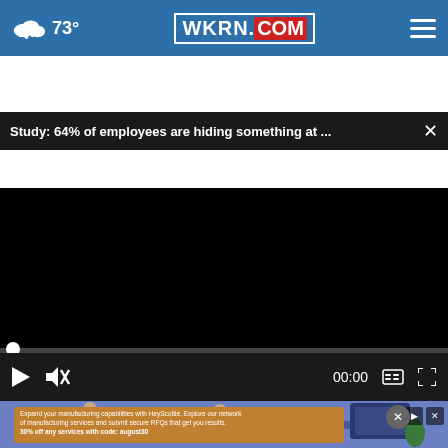73° WKRN.COM
Study: 64% of employees are hiding something at ...
[Figure (screenshot): Video player showing a black screen with playback controls including play button, mute button, timestamp 00:00, captions button, and fullscreen button. A progress bar with white circle indicator is at the top of the controls.]
[Figure (screenshot): Partial thumbnail image showing an animated/illustrated scene with figures at a desk in an office-like setting with blue and purple tones.]
Expand your manufacturing capabilities with HeyScottie. Explore our network of manufacturing services and submit secure RFQs that get you results. 30% off any services with code: august30